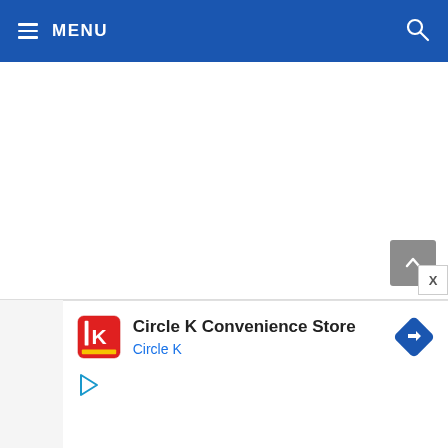MENU
[Figure (screenshot): White empty content area of a webpage]
[Figure (other): Gray scroll-to-top button with upward chevron arrow]
[Figure (other): Close/X button]
[Figure (other): Advertisement banner: Circle K Convenience Store with Circle K logo, direction icon, and play icon]